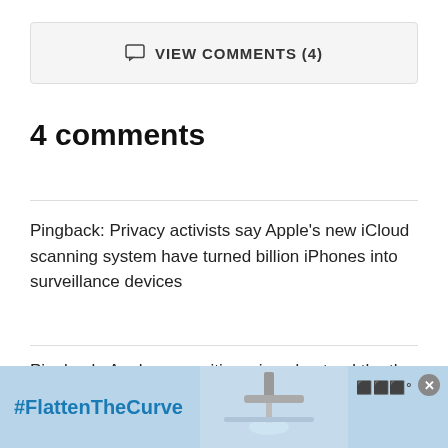VIEW COMMENTS (4)
4 comments
Pingback: Privacy activists say Apple's new iCloud scanning system have turned billion iPhones into surveillance devices
Pingback: Apple says critics misunderstand the the implementation of new 'Expanded Protections for Children'
Pingback: Apple CSAM detection feature to launch in
[Figure (other): Advertisement banner with #FlattenTheCurve hashtag text and an image of hands washing at a sink, with a close button and a logo on the right side]